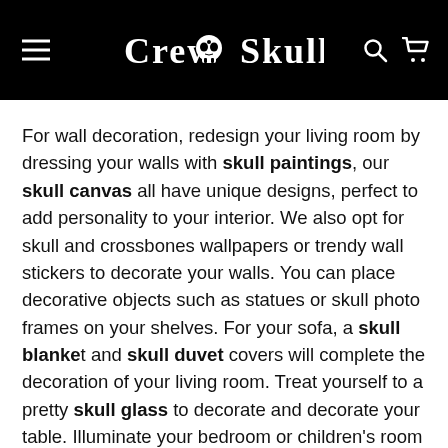Crew Skull - navigation header with menu, logo, search and cart icons
For wall decoration, redesign your living room by dressing your walls with skull paintings, our skull canvas all have unique designs, perfect to add personality to your interior. We also opt for skull and crossbones wallpapers or trendy wall stickers to decorate your walls. You can place decorative objects such as statues or skull photo frames on your shelves. For your sofa, a skull blanket and skull duvet covers will complete the decoration of your living room. Treat yourself to a pretty skull glass to decorate and decorate your table. Illuminate your bedroom or children's room